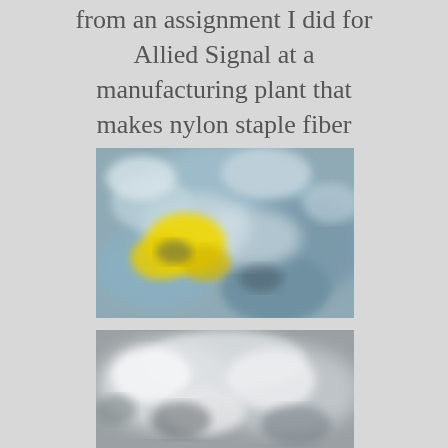from an assignment I did for Allied Signal at a manufacturing plant that makes nylon staple fiber carpet.
[Figure (photo): Close-up macro photograph of nylon staple fibers with yellow and blue-gray coloring, fluffy textile material]
[Figure (photo): Close-up macro photograph of white/gray nylon staple fibers in black and white]